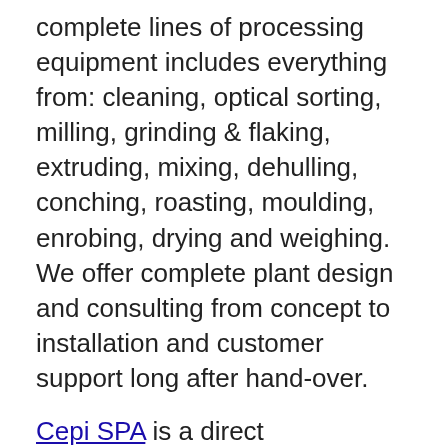complete lines of processing equipment includes everything from: cleaning, optical sorting, milling, grinding & flaking, extruding, mixing, dehulling, conching, roasting, moulding, enrobing, drying and weighing. We offer complete plant design and consulting from concept to installation and customer support long after hand-over.
Cepi SPA is a direct manufacturer of full automatic silo-plants for the food industry to store, convey & dose raw materials. Outdoor & indoor silos; mechanical & pneumatic transports; bags & big bags dump stations; automatic station for minor-ingredients; liquid tanks; scales; fermenting technology; flour cooling system; fat cold metering; bread & biscuit's scraps re-work systems;